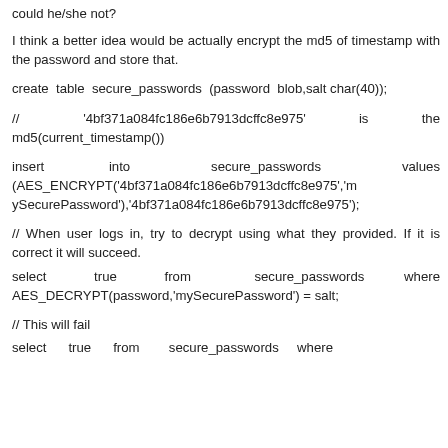could he/she not?
I think a better idea would be actually encrypt the md5 of timestamp with the password and store that.
create table secure_passwords (password blob,salt char(40));
// '4bf371a084fc186e6b7913dcffc8e975' is the md5(current_timestamp())
insert into secure_passwords values (AES_ENCRYPT('4bf371a084fc186e6b7913dcffc8e975','mySecurePassword'),'4bf371a084fc186e6b7913dcffc8e975');
// When user logs in, try to decrypt using what they provided. If it is correct it will succeed.
select true from secure_passwords where AES_DECRYPT(password,'mySecurePassword') = salt;
// This will fail
select true from secure_passwords where